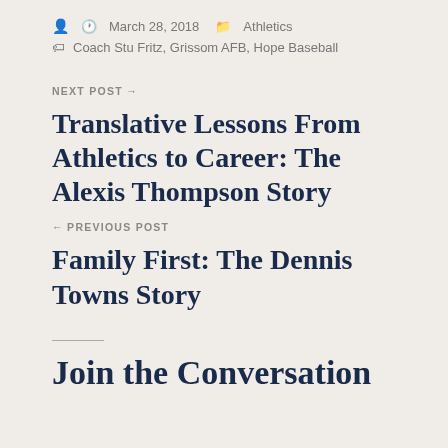March 28, 2018   Athletics
Coach Stu Fritz, Grissom AFB, Hope Baseball
NEXT POST →
Translative Lessons From Athletics to Career: The Alexis Thompson Story
← PREVIOUS POST
Family First: The Dennis Towns Story
Join the Conversation